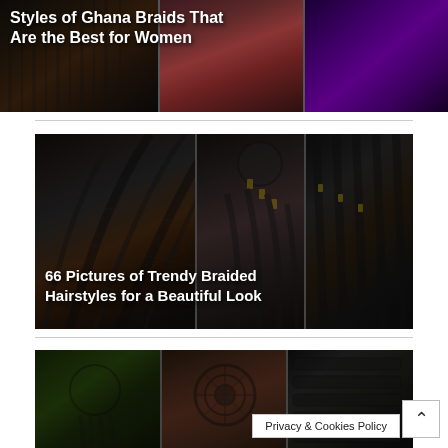[Figure (photo): Collage of Ghana braids hairstyles for women - three images showing different braid styles including stacked braids and purple natural hair]
Styles of Ghana Braids That Are the Best for Women
[Figure (photo): Collage of three braided hairstyle photos - large image of stacked box braids on left, center image of braided bun with gold accessories, right image of back view of cornrows]
66 Pictures of Trendy Braided Hairstyles for a Beautiful Look
[Figure (photo): Three images of braided hairstyles - left shows girl with low ponytail, center shows tight cornrows, right shows straight-back rows]
Privacy & Cookies Policy